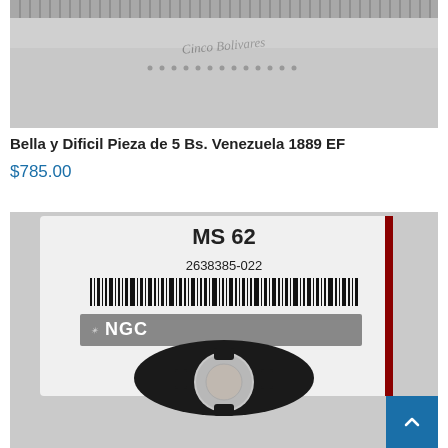[Figure (photo): Close-up photo of a coin showing milled edge and surface details, partially cropped at top]
Bella y Dificil Pieza de 5 Bs. Venezuela 1889 EF
$785.00
[Figure (photo): Photo of an NGC graded coin in a plastic slab holder showing MS 62 grade, barcode number 2638385-022, NGC logo bar, and a small silver coin in the lower compartment]